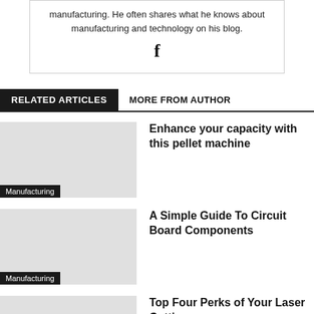manufacturing. He often shares what he knows about manufacturing and technology on his blog.
[Figure (logo): Facebook 'f' icon]
RELATED ARTICLES   MORE FROM AUTHOR
Enhance your capacity with this pellet machine
Manufacturing
A Simple Guide To Circuit Board Components
Manufacturing
Top Four Perks of Your Laser Cutting